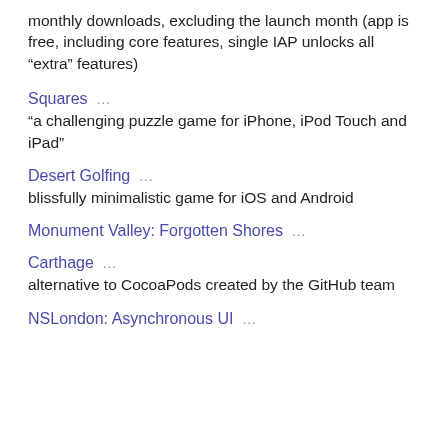monthly downloads, excluding the launch month (app is free, including core features, single IAP unlocks all “extra” features)
Squares … “a challenging puzzle game for iPhone, iPod Touch and iPad”
Desert Golfing … blissfully minimalistic game for iOS and Android
Monument Valley: Forgotten Shores …
Carthage … alternative to CocoaPods created by the GitHub team
NSLondon: Asynchronous UI …